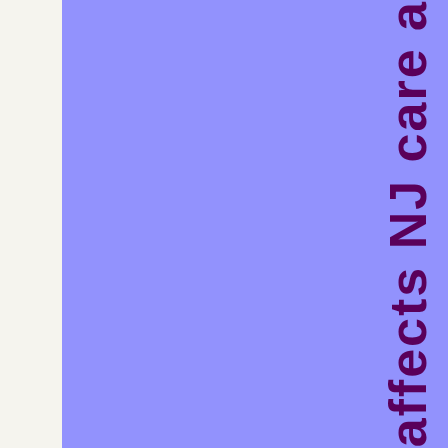[Figure (other): Purple/periwinkle colored rectangular block filling most of the left and center of the page]
ients affects NJ care a